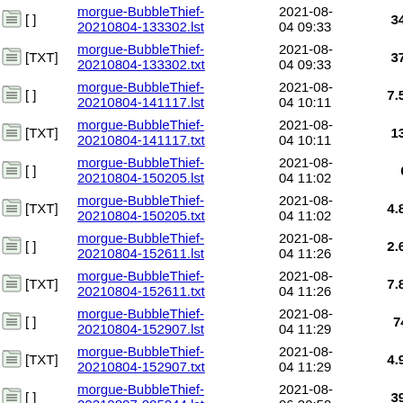| Icon | Name | Date | Size |
| --- | --- | --- | --- |
| [ ] | morgue-BubbleThief-20210804-133302.lst | 2021-08-04 09:33 | 34K |
| [TXT] | morgue-BubbleThief-20210804-133302.txt | 2021-08-04 09:33 | 37K |
| [ ] | morgue-BubbleThief-20210804-141117.lst | 2021-08-04 10:11 | 7.5K |
| [TXT] | morgue-BubbleThief-20210804-141117.txt | 2021-08-04 10:11 | 13K |
| [ ] | morgue-BubbleThief-20210804-150205.lst | 2021-08-04 11:02 | 66 |
| [TXT] | morgue-BubbleThief-20210804-150205.txt | 2021-08-04 11:02 | 4.8K |
| [ ] | morgue-BubbleThief-20210804-152611.lst | 2021-08-04 11:26 | 2.6K |
| [TXT] | morgue-BubbleThief-20210804-152611.txt | 2021-08-04 11:26 | 7.8K |
| [ ] | morgue-BubbleThief-20210804-152907.lst | 2021-08-04 11:29 | 742 |
| [TXT] | morgue-BubbleThief-20210804-152907.txt | 2021-08-04 11:29 | 4.9K |
| [ ] | morgue-BubbleThief-20210807-005044.lst | 2021-08-06 20:50 | 39K |
| [TXT] | morgue-BubbleThief- | 2021-08- | 34K |